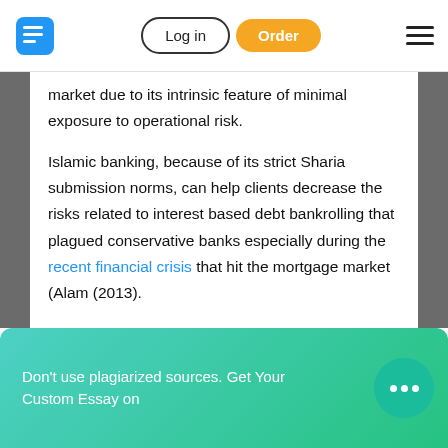Log in | Order
market due to its intrinsic feature of minimal exposure to operational risk.
Islamic banking, because of its strict Sharia submission norms, can help clients decrease the risks related to interest based debt bankrolling that plagued conservative banks especially during the recent financial crisis that hit the mortgage market (Alam (2013).
Don't use plagiarized sources. Get Your Custom Essay on